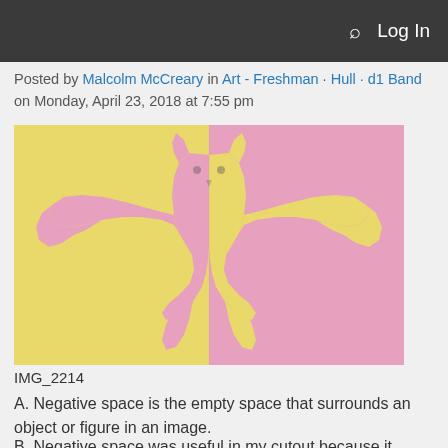Log In
Posted by Malcolm McCreary in Art - Freshman · Hull · d1 Band on Monday, April 23, 2018 at 7:55 pm
[Figure (photo): A paper cutout artwork showing a stylized owl or bird figure split vertically — left half has yellow figure on pink background, right half has pink figure on yellow background, demonstrating negative space.]
IMG_2214
A. Negative space is the empty space that surrounds an object or figure in an image.
B. Negative space was useful in my cutout because it